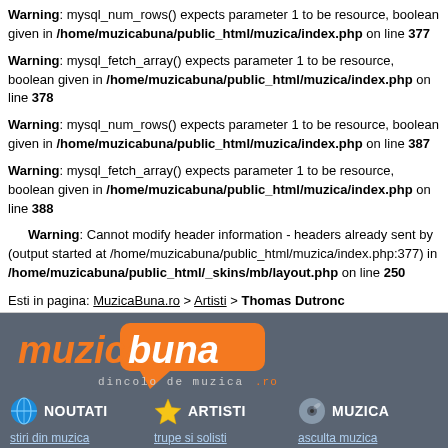Warning: mysql_num_rows() expects parameter 1 to be resource, boolean given in /home/muzicabuna/public_html/muzica/index.php on line 377
Warning: mysql_fetch_array() expects parameter 1 to be resource, boolean given in /home/muzicabuna/public_html/muzica/index.php on line 378
Warning: mysql_num_rows() expects parameter 1 to be resource, boolean given in /home/muzicabuna/public_html/muzica/index.php on line 387
Warning: mysql_fetch_array() expects parameter 1 to be resource, boolean given in /home/muzicabuna/public_html/muzica/index.php on line 388
Warning: Cannot modify header information - headers already sent by (output started at /home/muzicabuna/public_html/muzica/index.php:377) in /home/muzicabuna/public_html/_skins/mb/layout.php on line 250
Esti in pagina: MuzicaBuna.ro > Artisti > Thomas Dutronc
[Figure (logo): MuzicaBuna.ro logo with orange text and tagline 'dincolo de muzica .ro']
NOUTATI - stiri din muzica, critica muzicala, evenimente
ARTISTI - trupe si solisti, poze, videoclipuri, melodii copiate
MUZICA - asculta muzica, descarca albume, underground